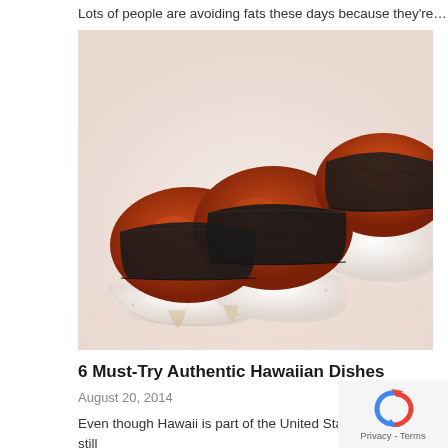Lots of people are avoiding fats these days because they're…
[Figure (photo): Close-up photo of Spam musubi — grilled Spam slices wrapped with nori seaweed over rice, a classic Hawaiian snack dish. Three musubi pieces are shown on a white plate.]
6 Must-Try Authentic Hawaiian Dishes
August 20, 2014
Even though Hawaii is part of the United States, it still maintains…